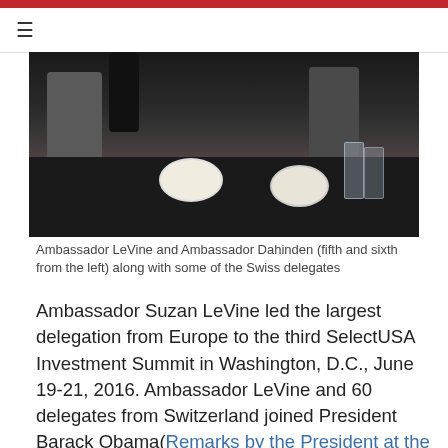≡
[Figure (photo): Photo of Ambassador LeVine and Ambassador Dahinden (fifth and sixth from the left) along with some of the Swiss delegates at a dinner table setting in a dark banquet room]
Ambassador LeVine and Ambassador Dahinden (fifth and sixth from the left) along with some of the Swiss delegates
Ambassador Suzan LeVine led the largest delegation from Europe to the third SelectUSA Investment Summit in Washington, D.C., June 19-21, 2016. Ambassador LeVine and 60 delegates from Switzerland joined President Barack Obama(Remarks by the President at the 2016 SelectUSA Investment Summit), Commerce Secretary Penny Pritzker (Remarks by U.S. Secretary of Commerce Penny Pritzker at the 2016 SelectUSA Investment Summit), Secretary of State John Kerry, and other administration officials at the Summit, designed to promote the United States as the